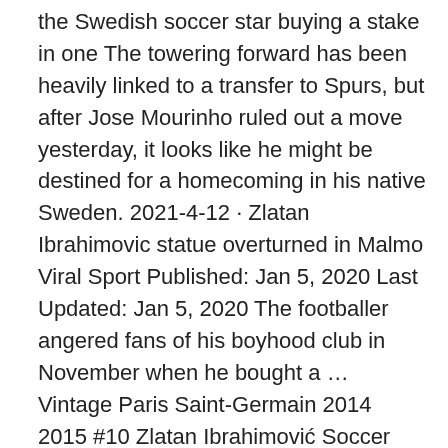the Swedish soccer star buying a stake in one The towering forward has been heavily linked to a transfer to Spurs, but after Jose Mourinho ruled out a move yesterday, it looks like he might be destined for a homecoming in his native Sweden. 2021-4-12 · Zlatan Ibrahimovic statue overturned in Malmo Viral Sport Published: Jan 5, 2020 Last Updated: Jan 5, 2020 The footballer angered fans of his boyhood club in November when he bought a … Vintage Paris Saint-Germain 2014 2015 #10 Zlatan Ibrahimović Soccer Jersey Home Vintage Football Shirt ideallife2020. 4.5 out of 5 stars (93) $ 58.81 FREE shipping Zlatan Ibrahimovic Shirt Career History Sweden Malmo Barcelona Ajax Inter Juventus Milan Manchester United LA Galaxy - Print, Mug OR Canvas TheLineupDesign. 5 out of 5 2021-2-26 … Zlatan Ibrahimovic's decision to